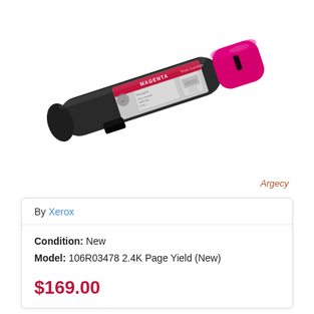[Figure (photo): Magenta toner cartridge (Xerox) shown diagonally on white background. The cartridge is black with a magenta/pink cap on the right end. A label on the cartridge reads MAGENTA Toner Cartridge with a back arrow icon and 'For use in' text with compatibility information.]
Argecy
By Xerox
Condition: New
Model: 106R03478 2.4K Page Yield (New)
$169.00